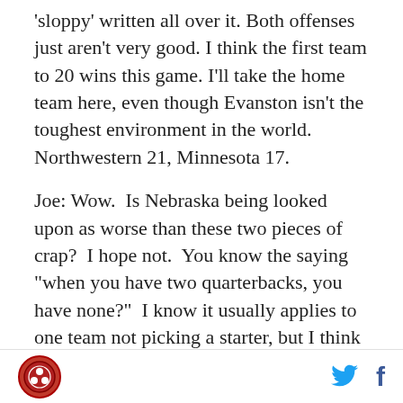'sloppy' written all over it. Both offenses just aren't very good. I think the first team to 20 wins this game. I'll take the home team here, even though Evanston isn't the toughest environment in the world. Northwestern 21, Minnesota 17.
Joe: Wow. Is Nebraska being looked upon as worse than these two pieces of crap? I hope not. You know the saying "when you have two quarterbacks, you have none?" I know it usually applies to one team not picking a starter, but I think it just as easily applies to the two teams in this game. In an incident sure to enrage PETA I predict a bloody pre game battle between the live mascots of these two teams, leaving the crowd shocked and appalled at the carnage. The